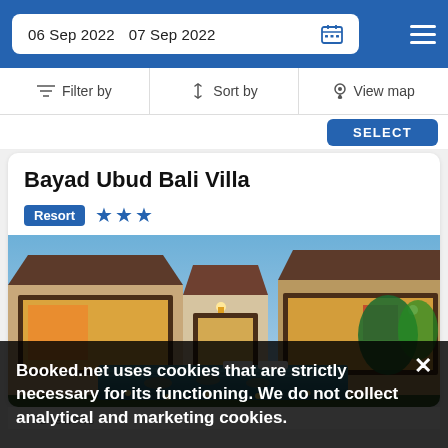06 Sep 2022  07 Sep 2022
Filter by  |  Sort by  |  View map
SELECT
Bayad Ubud Bali Villa
Resort ★★★
[Figure (photo): Exterior photo of Bayad Ubud Bali Villa at dusk showing illuminated villa buildings with glass sliding doors surrounding a courtyard pool with tropical garden lighting.]
Booked.net uses cookies that are strictly necessary for its functioning. We do not collect analytical and marketing cookies.
41 reviews